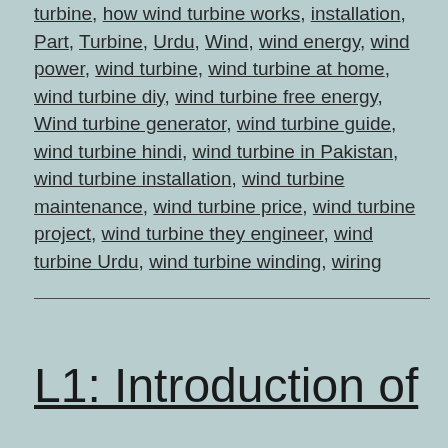turbine, how wind turbine works, installation, Part, Turbine, Urdu, Wind, wind energy, wind power, wind turbine, wind turbine at home, wind turbine diy, wind turbine free energy, Wind turbine generator, wind turbine guide, wind turbine hindi, wind turbine in Pakistan, wind turbine installation, wind turbine maintenance, wind turbine price, wind turbine project, wind turbine they engineer, wind turbine Urdu, wind turbine winding, wiring
L1: Introduction of